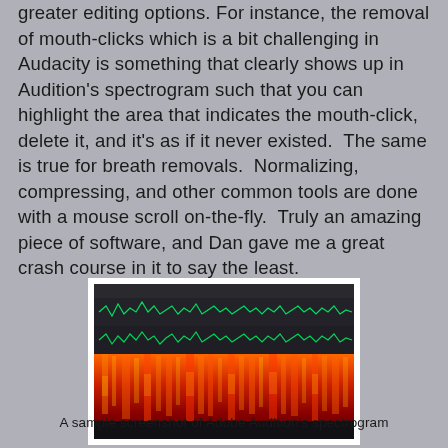greater editing options. For instance, the removal of mouth-clicks which is a bit challenging in Audacity is something that clearly shows up in Audition's spectrogram such that you can highlight the area that indicates the mouth-click, delete it, and it's as if it never existed.  The same is true for breath removals.  Normalizing, compressing, and other common tools are done with a mouse scroll on-the-fly.  Truly an amazing piece of software, and Dan gave me a great crash course in it to say the least.
[Figure (screenshot): A sample screenshot of Adobe Audition's spectrogram showing audio waveforms in green at the top and a colorful frequency spectrogram (red, orange, yellow) below on a dark background.]
A sample screenshot of Adobe Audition's spectrogram